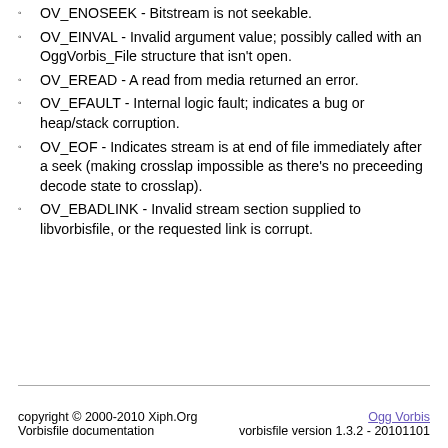OV_ENOSEEK - Bitstream is not seekable.
OV_EINVAL - Invalid argument value; possibly called with an OggVorbis_File structure that isn't open.
OV_EREAD - A read from media returned an error.
OV_EFAULT - Internal logic fault; indicates a bug or heap/stack corruption.
OV_EOF - Indicates stream is at end of file immediately after a seek (making crosslap impossible as there's no preceeding decode state to crosslap).
OV_EBADLINK - Invalid stream section supplied to libvorbisfile, or the requested link is corrupt.
copyright © 2000-2010 Xiph.Org
Vorbisfile documentation
vorbisfile version 1.3.2 - 20101101
Ogg Vorbis